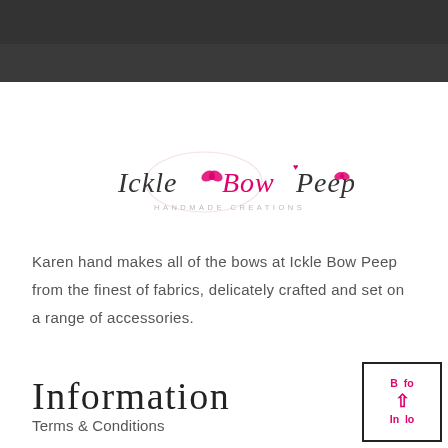[Figure (logo): Ickle Bow Peep handmade creations logo with cursive text and pink bow graphics]
Karen hand makes all of the bows at Ickle Bow Peep from the finest of fabrics, delicately crafted and set on a range of accessories.
Information
Terms & Conditions